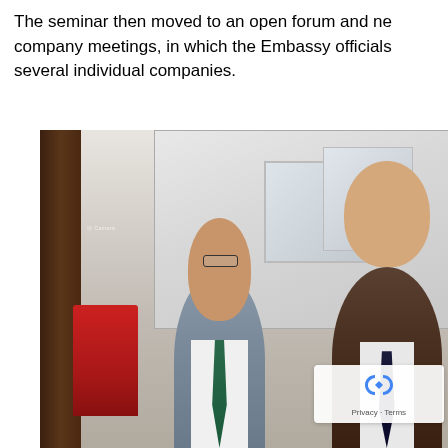The seminar then moved to an open forum and ne company meetings, in which the Embassy officials several individual companies.
[Figure (photo): Two men standing in a formal meeting room. A man in a grey suit with glasses and a teal tie stands next to a taller man in a dark brown suit with a dark tie. A red Camara branded stand is visible on the left. A projection screen is visible in the background.]